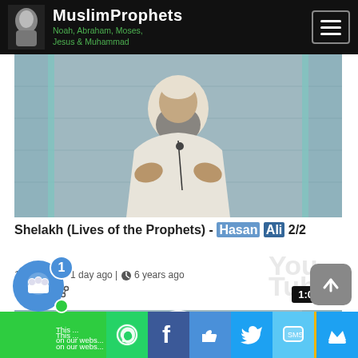MuslimProphets Noah, Abraham, Moses, Jesus & Muhammad
[Figure (screenshot): Video thumbnail showing a bearded man in white clothing with a microphone, seated in front of a decorative tiled background]
Shelakh (Lives of the Prophets) - Hasan Ali 2/2
1597 views · 1 day ago | 6 years ago
30 of 68
[Figure (logo): YouTube watermark logo in light gray]
1:02:40
[Figure (screenshot): Second video thumbnail showing a man in white turban and robe seated in front of decorative tiled background]
This ... on our webs...
[Figure (infographic): Bottom social sharing bar with WhatsApp, Facebook, Like, Twitter, SMS, and Crown icons]